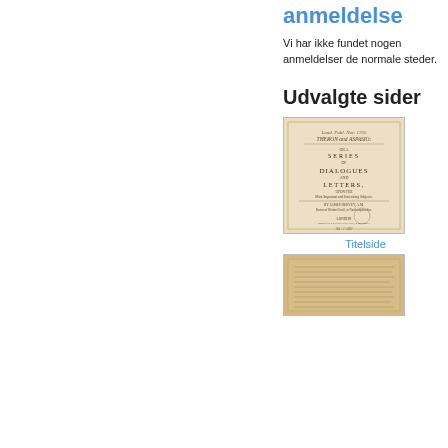anmeldelse
Vi har ikke fundet nogen anmeldelser de normale steder.
Udvalgte sider
[Figure (photo): Scanned title page of an old book: Theron and Aspasio, a Series of Dialogues and Letters, by James Hervey, London]
Titelside
[Figure (photo): Scanned interior page of the old book, showing aged yellowed paper with printed text lines]